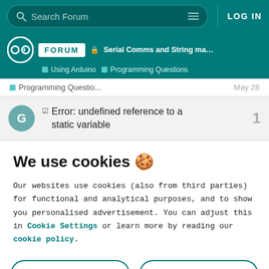Search Forum  LOG IN
Serial Comms and String manipulation re... Using Arduino Programming Questions
Programming Questio...  May 28
Error: undefined reference to a static variable  1
We use cookies 🍪
Our websites use cookies (also from third parties) for functional and analytical purposes, and to show you personalised advertisement. You can adjust this in Cookie Settings or learn more by reading our cookie policy.
ONLY REQUIRED
ACCEPT ALL